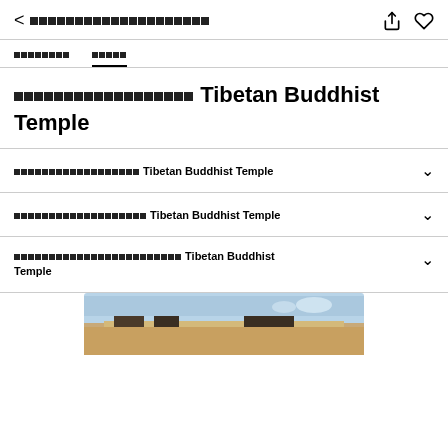< [Thai text] [share icon] [heart icon]
[Thai tab 1]   [Thai tab 2 - active]
[Thai text] Tibetan Buddhist Temple
[Thai text] Tibetan Buddhist Temple ∨
[Thai text] Tibetan Buddhist Temple ∨
[Thai text] Tibetan Buddhist Temple ∨
[Figure (photo): Photo of a building with wooden eaves and blue sky, partially visible at the bottom of the page]